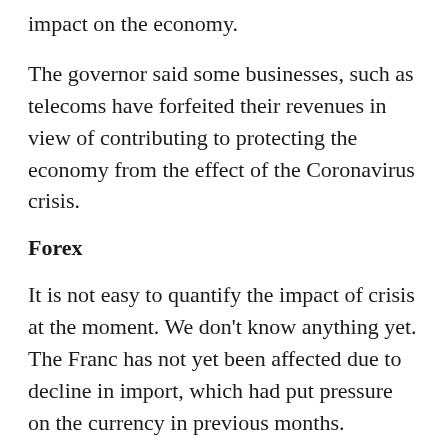impact on the economy.
The governor said some businesses, such as telecoms have forfeited their revenues in view of contributing to protecting the economy from the effect of the Coronavirus crisis.
Forex
It is not easy to quantify the impact of crisis at the moment. We don’t know anything yet. The Franc has not yet been affected due to decline in import, which had put pressure on the currency in previous months.
“We anticipate a depreciation of the Francs after the crisis, because there will be an increase in